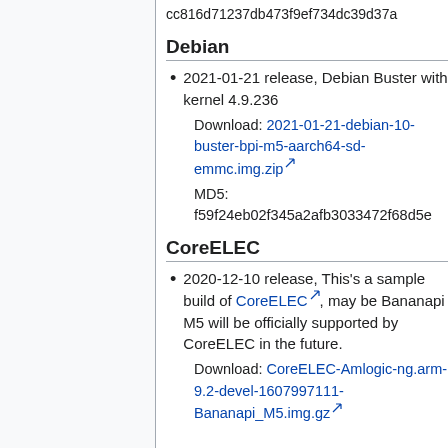cc816d71237db473f9ef734dc39d37a
Debian
2021-01-21 release, Debian Buster with kernel 4.9.236
Download: 2021-01-21-debian-10-buster-bpi-m5-aarch64-sd-emmc.img.zip
MD5: f59f24eb02f345a2afb3033472f68d5e
CoreELEC
2020-12-10 release, This's a sample build of CoreELEC, may be Bananapi M5 will be officially supported by CoreELEC in the future.
Download: CoreELEC-Amlogic-ng.arm-9.2-devel-1607997111-Bananapi_M5.img.gz